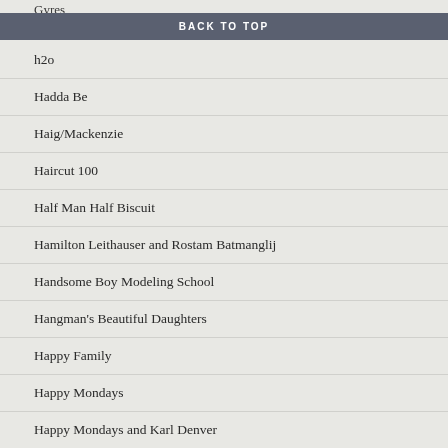Gyres
BACK TO TOP
h2o
Hadda Be
Haig/Mackenzie
Haircut 100
Half Man Half Biscuit
Hamilton Leithauser and Rostam Batmanglij
Handsome Boy Modeling School
Hangman's Beautiful Daughters
Happy Family
Happy Mondays
Happy Mondays and Karl Denver
Hardy Boys